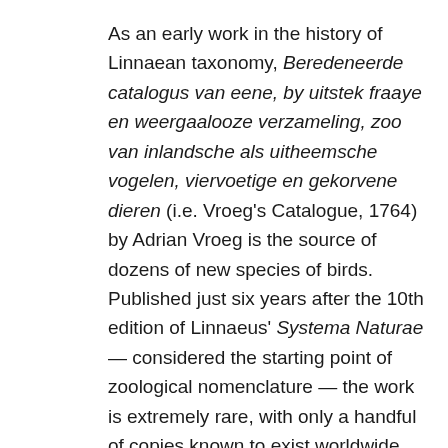As an early work in the history of Linnaean taxonomy, Beredeneerde catalogus van eene, by uitstek fraaye en weergaalooze verzameling, zoo van inlandsche als uitheemsche vogelen, viervoetige en gekorvene dieren (i.e. Vroeg's Catalogue, 1764) by Adrian Vroeg is the source of dozens of new species of birds. Published just six years after the 10th edition of Linnaeus' Systema Naturae — considered the starting point of zoological nomenclature — the work is extremely rare, with only a handful of copies known to exist worldwide.
Because of the work's age and rarity, first-hand access to the title has been difficult, and many